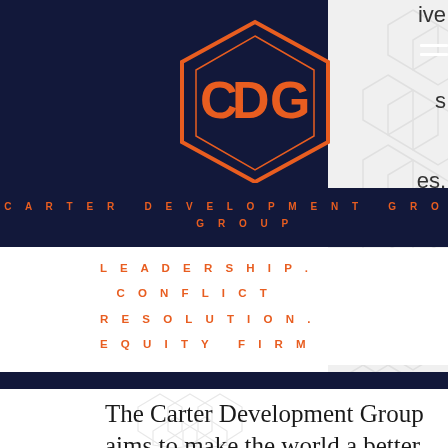[Figure (logo): Carter Development Group hexagonal monogram logo in orange with letters C, D, G intertwined, on dark navy background]
CARTER DEVELOPMENT GROUP
LEADERSHIP. CONFLICT RESOLUTION. EQUITY FIRM
The Carter Development Group aims to make the world a better